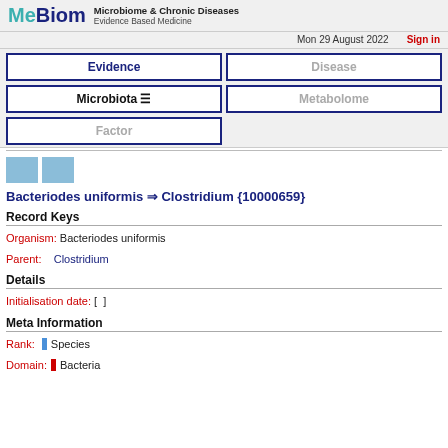MetaBiom — Microbiome & Chronic Diseases — Evidence Based Medicine
Mon 29 August 2022 | Sign in
Evidence | Disease | Microbiota | Metabolome | Factor
[Figure (other): Two small blue icon squares (UI icons)]
Bacteriodes uniformis ⇒ Clostridium {10000659}
Record Keys
Organism: Bacteriodes uniformis
Parent: Clostridium
Details
Initialisation date: [ ]
Meta Information
Rank: Species
Domain: Bacteria